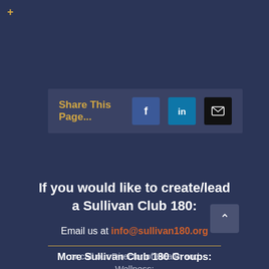+
[Figure (screenshot): Share This Page bar with Facebook, LinkedIn, and email buttons]
If you would like to create/lead a Sullivan Club 180:
Email us at info@sullivan180.org
or call our Director of Health and Wellness:
Meaghan Mullally-Gorr (845) 295-2630
More Sullivan Club 180 Groups: